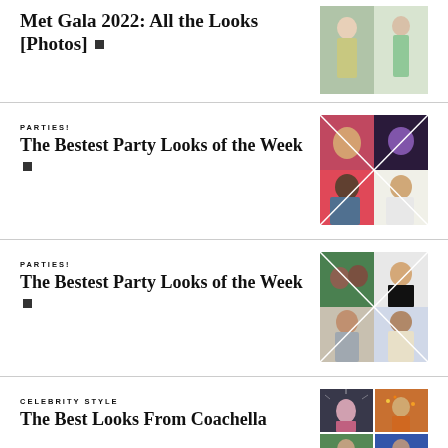Met Gala 2022: All the Looks [Photos] ▪
[Figure (photo): Fashion photo collage for Met Gala 2022]
PARTIES!
The Bestest Party Looks of the Week ▪
[Figure (photo): Party looks collage - diagonal grid of 4 people]
PARTIES!
The Bestest Party Looks of the Week ▪
[Figure (photo): Party looks collage - second version]
CELEBRITY STYLE
The Best Looks From Coachella
[Figure (photo): Coachella celebrity style photo grid]